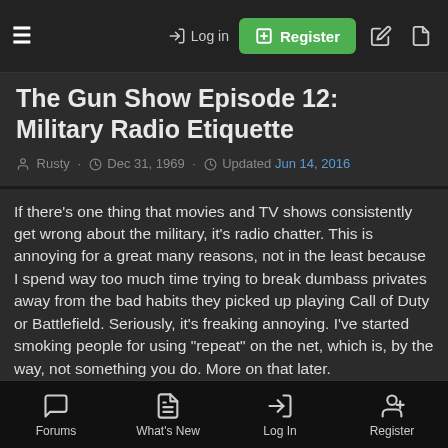≡  → Log in  ⊞ Register  ✎  ▣
The Gun Show Episode 12: Military Radio Etiquette
Rusty · Dec 31, 1969 · Updated Jun 14, 2016
If there's one thing that movies and TV shows consistently get wrong about the military, it's radio chatter. This is annoying for a great many reasons, not in the least because I spend way too much time trying to break dumbass privates away from the bad habits they picked up playing Call of Duty or Battlefield. Seriously, it's freaking annoying. I've started smoking people for using "repeat" on the net, which is, by the way, not something you do. More on that later.
Anyway, the basic structure of a radio conversation is simple. For the purpose of this exercise, the first calling station is Wookiee, and the second is Droid
"Droid, this is Wookiee, over."
"Wookiee, this is Droid, send it, over."
Forums  What's New  Log In  Register